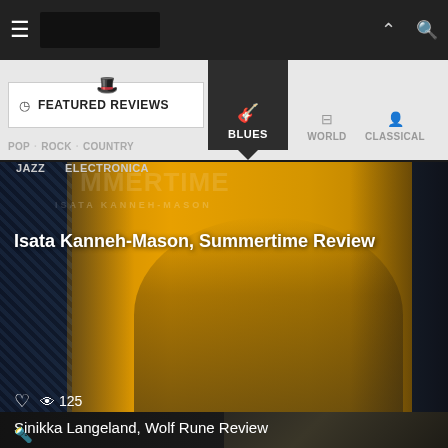Music review website header with hamburger menu, logo, and navigation icons
FEATURED REVIEWS | POP | ROCK | COUNTRY | BLUES | WORLD | CLASSICAL | JAZZ | ELECTRONICA
[Figure (photo): Album cover card for Isata Kanneh-Mason Summertime Review - yellow background with person portrait, summertime text overlay]
Isata Kanneh-Mason, Summertime Review
125 views, heart icon
[Figure (photo): Album cover card for Sinikka Langeland Wolf Rune Review - dark background with grayscale imagery]
Sinikka Langeland, Wolf Rune Review